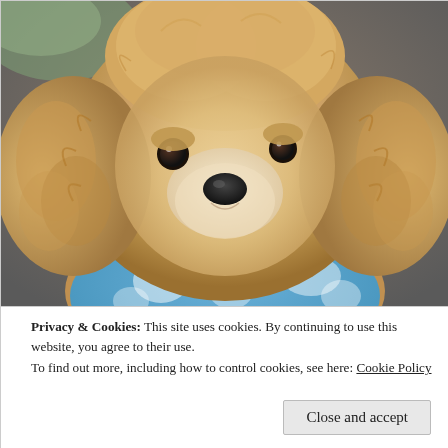[Figure (photo): Close-up photo of a fluffy apricot/tan toy poodle dog wearing a blue patterned garment and a dark collar with metal tags, looking directly at the camera.]
Privacy & Cookies: This site uses cookies. By continuing to use this website, you agree to their use.
To find out more, including how to control cookies, see here: Cookie Policy
Close and accept